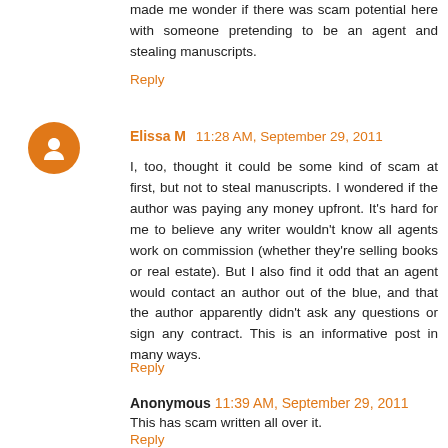made me wonder if there was scam potential here with someone pretending to be an agent and stealing manuscripts.
Reply
Elissa M  11:28 AM, September 29, 2011
I, too, thought it could be some kind of scam at first, but not to steal manuscripts. I wondered if the author was paying any money upfront. It's hard for me to believe any writer wouldn't know all agents work on commission (whether they're selling books or real estate). But I also find it odd that an agent would contact an author out of the blue, and that the author apparently didn't ask any questions or sign any contract. This is an informative post in many ways.
Reply
Anonymous  11:39 AM, September 29, 2011
This has scam written all over it.
Reply